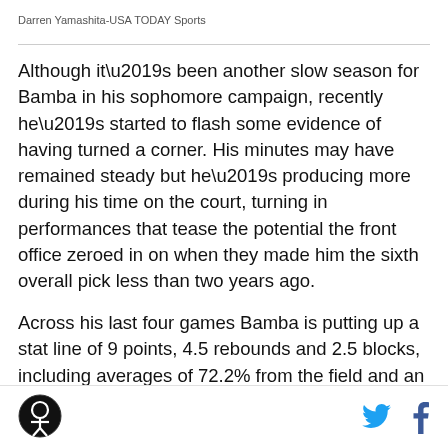Darren Yamashita-USA TODAY Sports
Although it’s been another slow season for Bamba in his sophomore campaign, recently he’s started to flash some evidence of having turned a corner. His minutes may have remained steady but he’s producing more during his time on the court, turning in performances that tease the potential the front office zeroed in on when they made him the sixth overall pick less than two years ago.
Across his last four games Bamba is putting up a stat line of 9 points, 4.5 rebounds and 2.5 blocks, including averages of 72.2% from the field and an absurd 71.4%